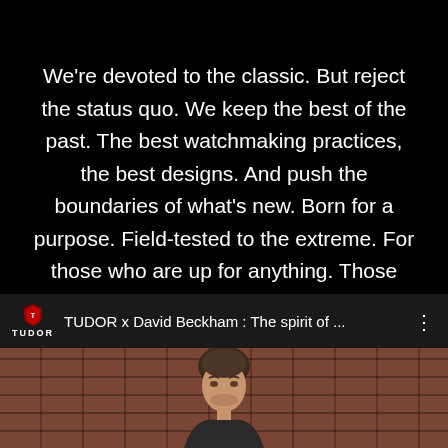We're devoted to the classic. But reject the status quo. We keep the best of the past. The best watchmaking practices, the best designs. And push the boundaries of what's new. Born for a purpose. Field-tested to the extreme. For those who are up for anything. Those who face their fears. Those who re-invent themselves every day. A TUDOR is #BornToDare.
[Figure (screenshot): YouTube video thumbnail bar showing TUDOR logo and title 'TUDOR x David Beckham : The spirit of ...' with three-dot menu icon]
[Figure (photo): Photo of David Beckham in front of a brick wall, showing face and upper body]